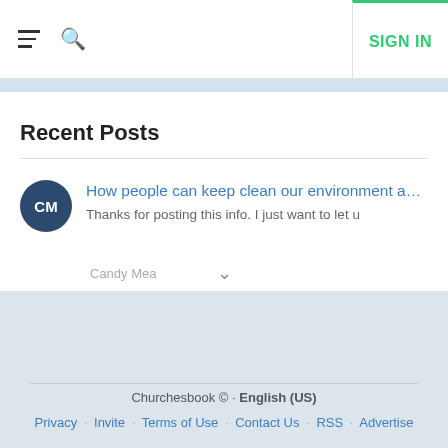SIGN IN
Recent Posts
How people can keep clean our environment and makes it...
Thanks for posting this info. I just want to let u
Churchesbook © · English (US) · Privacy · Invite · Terms of Use · Contact Us · RSS · Advertise